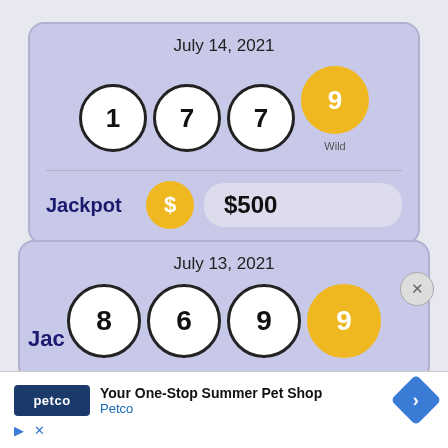[Figure (infographic): Lottery result card for July 14, 2021 showing balls numbered 1, 7, 7, and Wild 9, with Jackpot $500]
[Figure (infographic): Partial lottery result card for July 13, 2021 showing balls numbered 8, 6, 9, and Wild 9, partially cut off]
[Figure (infographic): Petco advertisement overlay: Your One-Stop Summer Pet Shop - Petco]